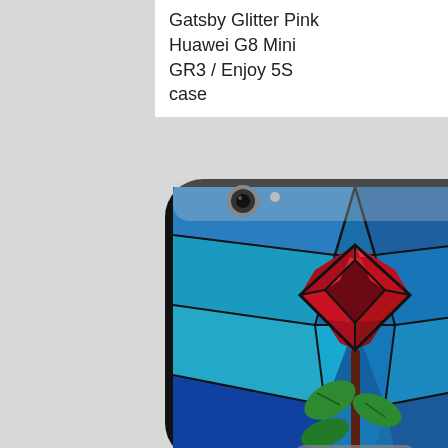Gatsby Glitter Pink Huawei G8 Mini GR3 / Enjoy 5S case
[Figure (photo): A Huawei G8 Mini GR3 / Enjoy 5S phone case with stained glass style artwork depicting a red rose on a blue geometric stained glass background.]